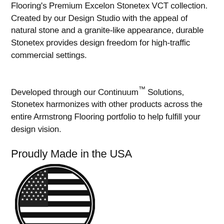Flooring's Premium Excelon Stonetex VCT collection. Created by our Design Studio with the appeal of natural stone and a granite-like appearance, durable Stonetex provides design freedom for high-traffic commercial settings.
Developed through our Continuum™ Solutions, Stonetex harmonizes with other products across the entire Armstrong Flooring portfolio to help fulfill your design vision.
Proudly Made in the USA
[Figure (logo): Black and white circular logo containing a stylized American flag with stars and stripes rendered in monochrome.]